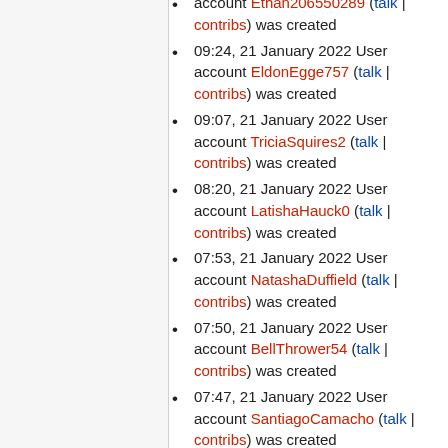account Ethan206550289 (talk | contribs) was created
09:24, 21 January 2022 User account EldonEgge757 (talk | contribs) was created
09:07, 21 January 2022 User account TriciaSquires2 (talk | contribs) was created
08:20, 21 January 2022 User account LatishaHauck0 (talk | contribs) was created
07:53, 21 January 2022 User account NatashaDuffield (talk | contribs) was created
07:50, 21 January 2022 User account BellThrower54 (talk | contribs) was created
07:47, 21 January 2022 User account SantiagoCamacho (talk | contribs) was created